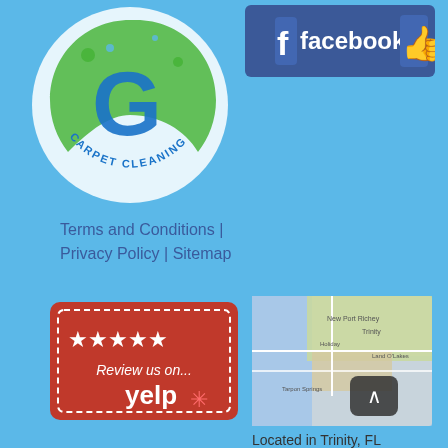[Figure (logo): Gem Brite's Carpet Cleaning circular logo with green and blue swoosh G design]
[Figure (logo): Facebook logo button with thumbs up icon on dark blue background]
Terms and Conditions | Privacy Policy | Sitemap
[Figure (illustration): Yelp review badge - red background with 5 white stars and text 'Review us on... yelp']
[Figure (map): Google Maps screenshot showing Trinity, FL area with coastal geography]
Located in Trinity, FL